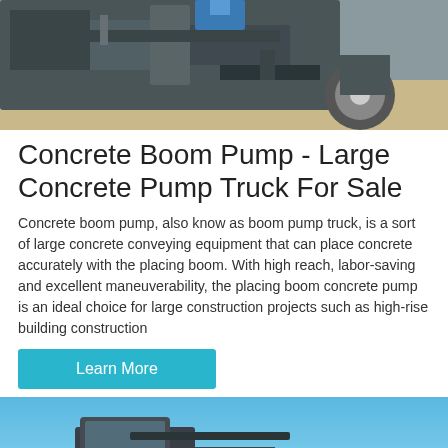[Figure (photo): Close-up photo of a concrete boom pump truck machinery, showing dark metal components, a large wheel/tire, and mechanical parts against a sandy/dirt background.]
Concrete Boom Pump - Large Concrete Pump Truck For Sale
Concrete boom pump, also know as boom pump truck, is a sort of large concrete conveying equipment that can place concrete accurately with the placing boom. With high reach, labor-saving and excellent maneuverability, the placing boom concrete pump is an ideal choice for large construction projects such as high-rise building construction
[Figure (photo): Photo of a concrete pump truck against a blue sky background, showing the front/cab portion of the vehicle.]
MAIL   ADVISORY   OFFER